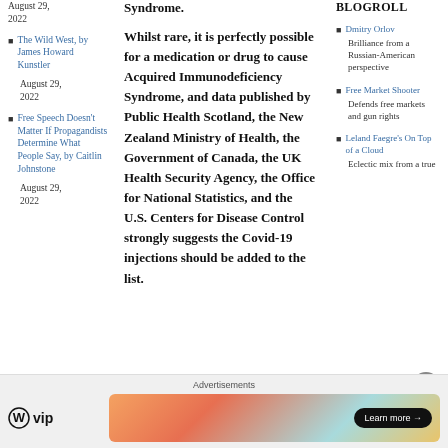August 29, 2022
The Wild West, by James Howard Kunstler
August 29, 2022
Free Speech Doesn't Matter If Propagandists Determine What People Say, by Caitlin Johnstone
August 29, 2022
Syndrome.
Whilst rare, it is perfectly possible for a medication or drug to cause Acquired Immunodeficiency Syndrome, and data published by Public Health Scotland, the New Zealand Ministry of Health, the Government of Canada, the UK Health Security Agency, the Office for National Statistics, and the U.S. Centers for Disease Control strongly suggests the Covid-19 injections should be added to the list.
BLOGROLL
Dmitry Orlov
Brilliance from a Russian-American perspective
Free Market Shooter
Defends free markets and gun rights
Leland Faegre's On Top of a Cloud
Eclectic mix from a true
Advertisements
[Figure (logo): WordPress VIP logo with circular W icon]
[Figure (infographic): Colorful gradient advertisement banner with Learn more button]